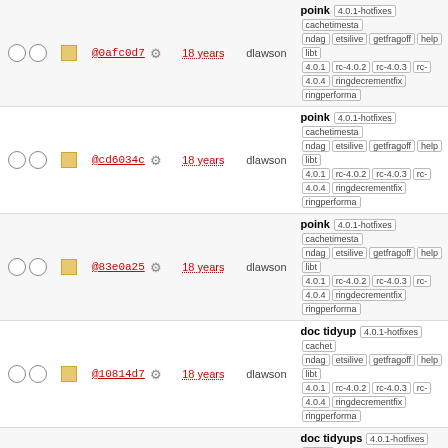|  |  | Rev | Age | Author | Log Message |
| --- | --- | --- | --- | --- | --- |
| ○ ○ | ▪ | @0afc0d7 | 18 years | dlawson | poink 4.0.1-hotfixes cachetimesta... ndag etsilive getfragoff help libt 4.0.1 rc-4.0.2 rc-4.0.3 rc-4.0.4 ringdecrementfix ringperforma |
| ○ ○ | ▪ | @cd6034c | 18 years | dlawson | poink 4.0.1-hotfixes cachetimesta... ndag etsilive getfragoff help libt 4.0.1 rc-4.0.2 rc-4.0.3 rc-4.0.4 ringdecrementfix ringperforma |
| ○ ○ | ▪ | @83e0a25 | 18 years | dlawson | poink 4.0.1-hotfixes cachetimesta... ndag etsilive getfragoff help libt 4.0.1 rc-4.0.2 rc-4.0.3 rc-4.0.4 ringdecrementfix ringperforma |
| ○ ○ | ▪ | @10814d7 | 18 years | dlawson | doc tidyup 4.0.1-hotfixes cachet... ndag etsilive getfragoff help libt 4.0.1 rc-4.0.2 rc-4.0.3 rc-4.0.4 ringdecrementfix ringperforma |
| ○ ○ | ▪ | @d95447b | 18 years | dlawson | doc tidyups 4.0.1-hotfixes cache... ndag etsilive getfragoff help libt 4.0.1 rc-4.0.2 rc-4.0.3 rc-4.0.4 ringdecrementfix ringperforma |
Note: See TracRevisionLog for help on using the revision log.
Download in other formats: RSS Feed | ChangeLog
Powered by Trac 1.0.10 By Edgewall Software. Visit the Trac open source project at http://trac.edgewall.com/